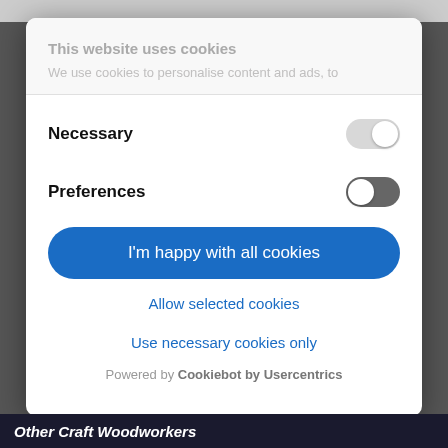This website uses cookies
We use cookies to personalise content and ads, to
Necessary
Preferences
I'm happy with all cookies
Allow selected cookies
Use necessary cookies only
Powered by Cookiebot by Usercentrics
Other Craft Woodworkers